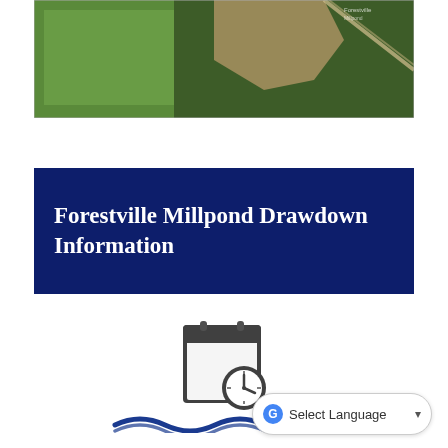[Figure (photo): Aerial satellite view of Forestville Millpond area showing wooded land, a cleared/disturbed area, green agricultural fields, and a road]
Forestville Millpond Drawdown Information
[Figure (illustration): Calendar icon with a clock face overlaid, representing scheduled event timing]
[Figure (illustration): Blue wave/water icon below the calendar]
Select Language